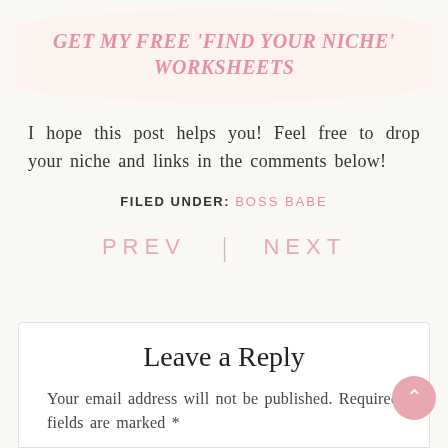GET MY FREE ‘FIND YOUR NICHE’ WORKSHEETS
I hope this post helps you! Feel free to drop your niche and links in the comments below!
FILED UNDER: BOSS BABE
PREV | NEXT
Leave a Reply
Your email address will not be published. Required fields are marked *